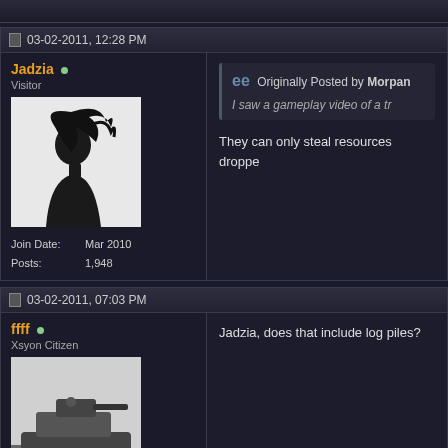03-02-2011, 12:28 PM
Jadzia • Visitor
Join Date: Mar 2010
Posts: 1,948
Originally Posted by Morpan
I saw a gameplay video of a tr...
They can only steal resources droppe...
03-02-2011, 07:03 PM
ffff • Xsyon Citizen
Join Date: Feb 2011
Jadzia, does that include log piles?